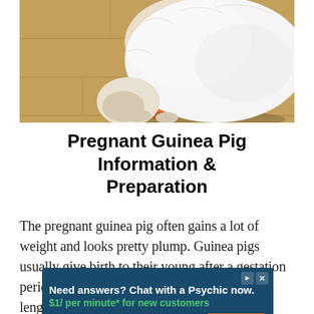[Figure (photo): Close-up photo of a white guinea pig eating an orange carrot piece on a wooden floor]
Pregnant Guinea Pig Information & Preparation
The pregnant guinea pig often gains a lot of weight and looks pretty plump. Guinea pigs usually give birth to their young after a gestation period that lasts between 63 and 70 days. The length of the...
[Figure (screenshot): Advertisement banner for California Psychics: 'Need answers? Chat with a Psychic now. $1/ per minute* for new customers. Sign up now. *20 minutes purchase required']